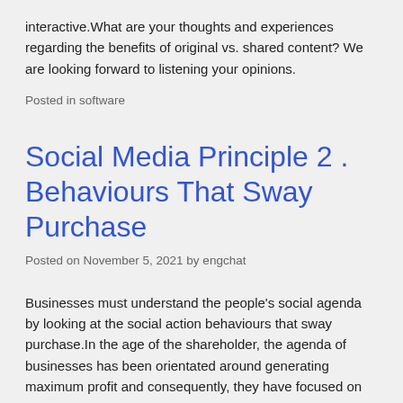interactive.What are your thoughts and experiences regarding the benefits of original vs. shared content? We are looking forward to listening your opinions.
Posted in software
Social Media Principle 2 . Behaviours That Sway Purchase
Posted on November 5, 2021 by engchat
Businesses must understand the people's social agenda by looking at the social action behaviours that sway purchase.In the age of the shareholder, the agenda of businesses has been orientated around generating maximum profit and consequently, they have focused on